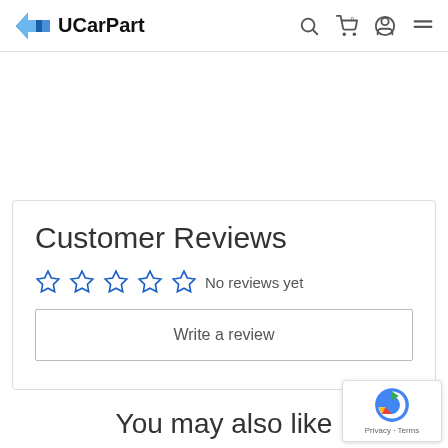UCarPart
Customer Reviews
No reviews yet
Write a review
You may also like